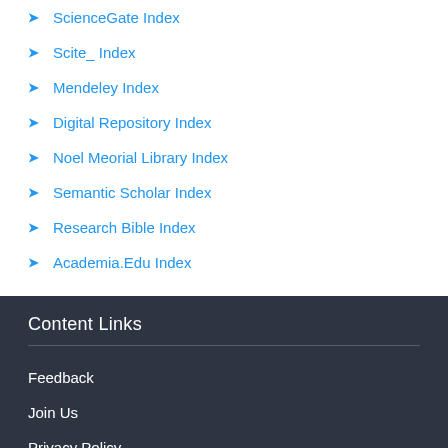ScienceGate Index
Scite_ Index
Mendeley Index
Digital Repository Index
Noel Meorial Library Index
Semantic Scholar Index
Research Bible Index
Academia.Edu Index
Content Links
Feedback
Join Us
Privacy Policy
ROR Sitemap
HTML Sitemap